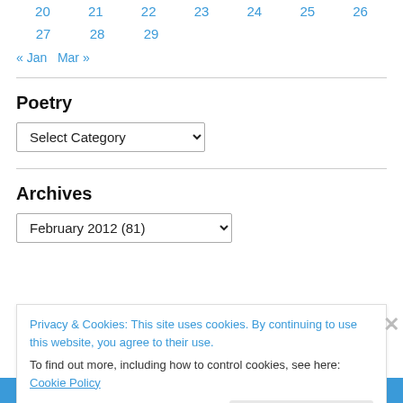| 20 | 21 | 22 | 23 | 24 | 25 | 26 |
| 27 | 28 | 29 |  |  |  |  |
« Jan   Mar »
Poetry
Select Category (dropdown)
Archives
February 2012  (81) (dropdown)
Privacy & Cookies: This site uses cookies. By continuing to use this website, you agree to their use.
To find out more, including how to control cookies, see here: Cookie Policy
Close and accept